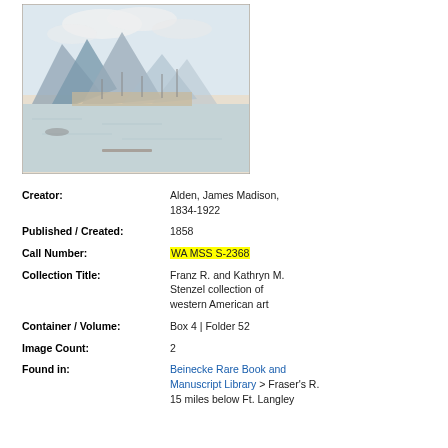[Figure (illustration): Watercolor or sketch painting of a coastal/harbor scene with mountains in the background, ships in the water, and a settlement on the shoreline.]
Creator: Alden, James Madison, 1834-1922
Published / Created: 1858
Call Number: WA MSS S-2368
Collection Title: Franz R. and Kathryn M. Stenzel collection of western American art
Container / Volume: Box 4 | Folder 52
Image Count: 2
Found in: Beinecke Rare Book and Manuscript Library > Fraser's R. 15 miles below Ft. Langley